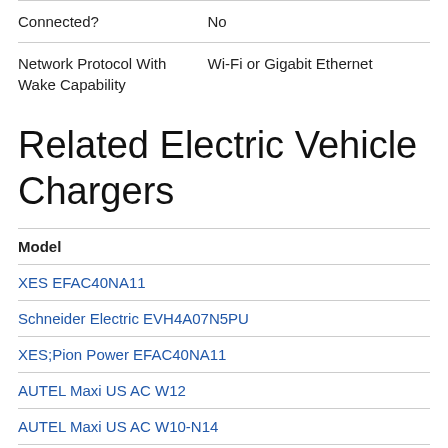| Connected? | No |
| Network Protocol With Wake Capability | Wi-Fi or Gigabit Ethernet |
Related Electric Vehicle Chargers
| Model |
| --- |
| XES EFAC40NA11 |
| Schneider Electric EVH4A07N5PU |
| XES;Pion Power EFAC40NA11 |
| AUTEL Maxi US AC W12 |
| AUTEL Maxi US AC W10-N14 |
| AUTEL Maxi US AC W7-N14 |